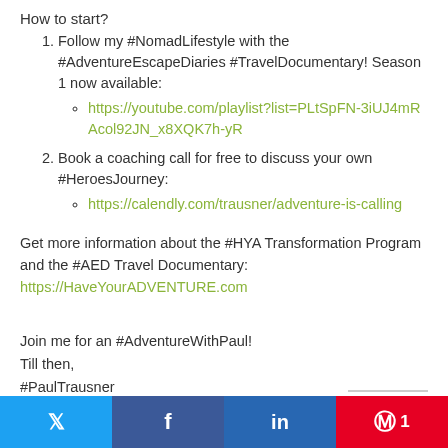How to start?
Follow my #NomadLifestyle with the #AdventureEscapeDiaries #TravelDocumentary! Season 1 now available:
  • https://youtube.com/playlist?list=PLtSpFN-3iUJ4mRAcol92JN_x8XQK7h-yR
Book a coaching call for free to discuss your own #HeroesJourney:
  • https://calendly.com/trausner/adventure-is-calling
Get more information about the #HYA Transformation Program and the #AED Travel Documentary:
https://HaveYourADVENTURE.com
Join me for an #AdventureWithPaul!
Till then,
#PaulTrausner